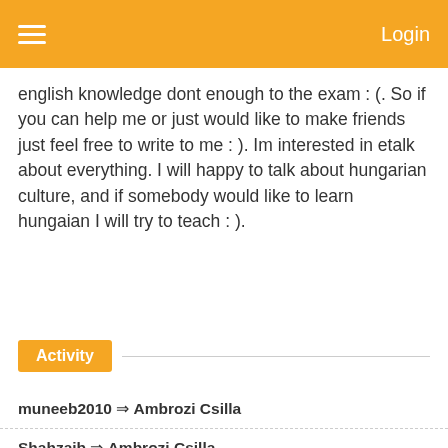Login
english knowledge dont enough to the exam : (. So if you can help me or just would like to make friends just feel free to write to me : ). Im interested in etalk about everything. I will happy to talk about hungarian culture, and if somebody would like to learn hungaian I will try to teach : ).
Activity
muneeb2010 ⇒ Ambrozi Csilla
Shahzaib ⇒ Ambrozi Csilla
Ambrozi Csilla is mutual with khaidat226
Ambrozi Csilla is mutual with 2310marek, RerE.A
Ambrozi Csilla is mutual with Marchia, Ainmerlin, Hajare Baghdadi, kiNa3110, Achamo, Renata1990, sokhin.C,